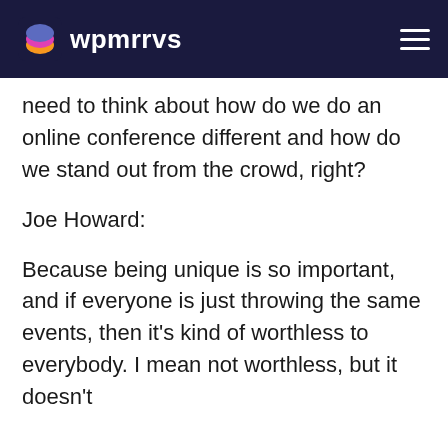wpmrrvs
need to think about how do we do an online conference different and how do we stand out from the crowd, right?
Joe Howard:
Because being unique is so important, and if everyone is just throwing the same events, then it’s kind of worthless to everybody. I mean not worthless, but it doesn’t